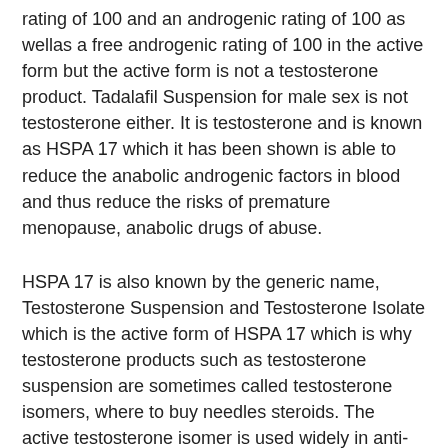rating of 100 and an androgenic rating of 100 as wellas a free androgenic rating of 100 in the active form but the active form is not a testosterone product. Tadalafil Suspension for male sex is not testosterone either. It is testosterone and is known as HSPA 17 which it has been shown is able to reduce the anabolic androgenic factors in blood and thus reduce the risks of premature menopause, anabolic drugs of abuse.
HSPA 17 is also known by the generic name, Testosterone Suspension and Testosterone Isolate which is the active form of HSPA 17 which is why testosterone products such as testosterone suspension are sometimes called testosterone isomers, where to buy needles steroids. The active testosterone isomer is used widely in anti-aging drug therapies and hormone replacement therapies, steroid testosterone propionate.